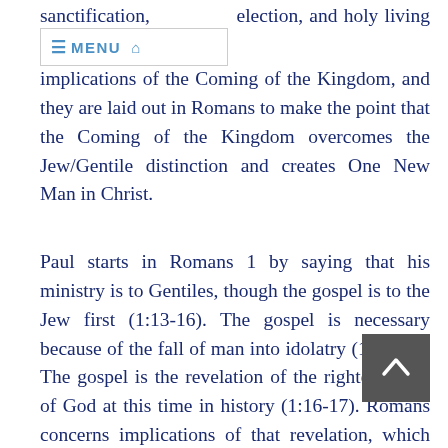≡ MENU  🏠
sanctification, election, and holy living are implications of the Coming of the Kingdom, and they are laid out in Romans to make the point that the Coming of the Kingdom overcomes the Jew/Gentile distinction and creates One New Man in Christ.
Paul starts in Romans 1 by saying that his ministry is to Gentiles, though the gospel is to the Jew first (1:13-16). The gospel is necessary because of the fall of man into idolatry (1:17-32). The gospel is the revelation of the righteousness of God at this time in history (1:16-17). Romans concerns the implications of that revelation, which includes the forgiveness of sins, the resurrection of the inner man, the coming of the Spirit, and